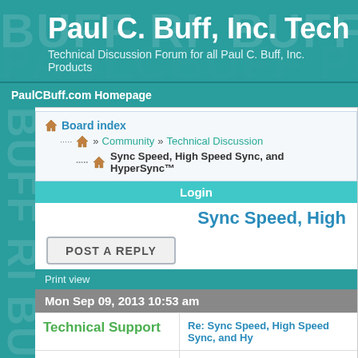Paul C. Buff, Inc. Tech
Technical Discussion Forum for all Paul C. Buff, Inc. Products
PaulCBuff.com Homepage
Board index » Community » Technical Discussion
Sync Speed, High Speed Sync, and HyperSync™
Login
Sync Speed, High
POST A REPLY
Print view
Mon Sep 09, 2013 10:53 am
Technical Support
Re: Sync Speed, High Speed Sync, and Hy
Site Admin
shetab wrote:
so, it's not any way to access 1/320 or 1 Thanks.